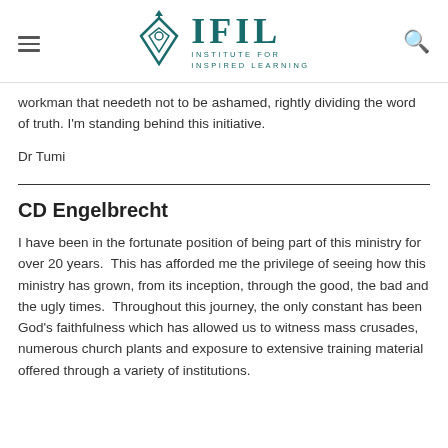IFIL — Institute for Inspired Learning
workman that needeth not to be ashamed, rightly dividing the word of truth. I'm standing behind this initiative.
Dr Tumi
CD Engelbrecht
I have been in the fortunate position of being part of this ministry for over 20 years.  This has afforded me the privilege of seeing how this ministry has grown, from its inception, through the good, the bad and the ugly times.  Throughout this journey, the only constant has been God's faithfulness which has allowed us to witness mass crusades, numerous church plants and exposure to extensive training material offered through a variety of institutions.